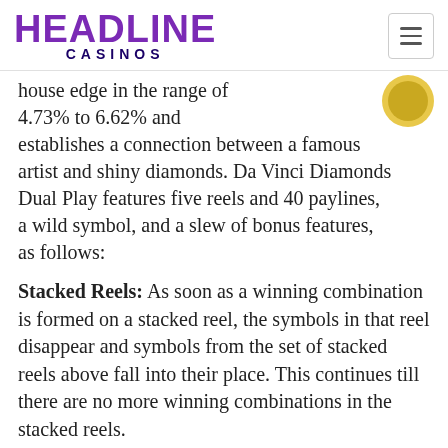HEADLINE CASINOS
house edge in the range of 4.73% to 6.62% and establishes a connection between a famous artist and shiny diamonds. Da Vinci Diamonds Dual Play features five reels and 40 paylines, a wild symbol, and a slew of bonus features, as follows:
Stacked Reels: As soon as a winning combination is formed on a stacked reel, the symbols in that reel disappear and symbols from the set of stacked reels above fall into their place. This continues till there are no more winning combinations in the stacked reels.
Tumbling Reel: Whenever players create a winning combination, the symbols in that